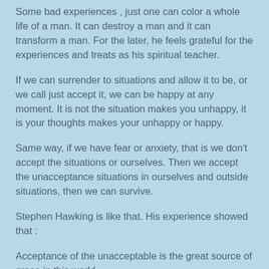Some bad experiences , just one can color a whole life of a man. It can destroy a man and it can transform a man. For the later, he feels grateful for the experiences and treats as his spiritual teacher.
If we can surrender to situations and allow it to be, or we call just accept it, we can be happy at any moment. It is not the situation makes you unhappy, it is your thoughts makes your unhappy or happy.
Same way, if we have fear or anxiety, that is we don't accept the situations or ourselves. Then we accept the unacceptance situations in ourselves and outside situations, then we can survive.
Stephen Hawking is like that. His experience showed that :
Acceptance of the unacceptable is the great source of grace in this world.
It can be arduous, tough and formidable process, We have to endure it, be with it and surrender it a lot of time. The